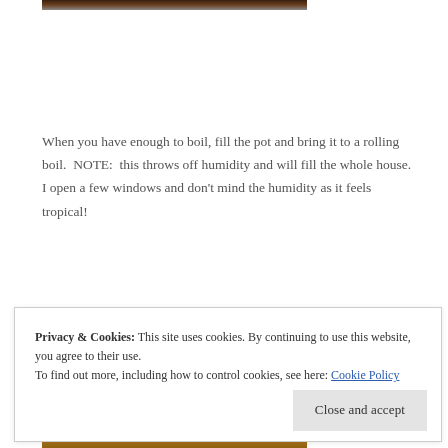[Figure (photo): Partial top edge of a photo, dark/brown tones]
When you have enough to boil, fill the pot and bring it to a rolling boil.  NOTE:  this throws off humidity and will fill the whole house.  I open a few windows and don't mind the humidity as it feels tropical!
The sap will boil down and each time add more to fill
Privacy & Cookies: This site uses cookies. By continuing to use this website, you agree to their use.
To find out more, including how to control cookies, see here: Cookie Policy
[Figure (photo): Bottom partial photo with golden/amber tones]